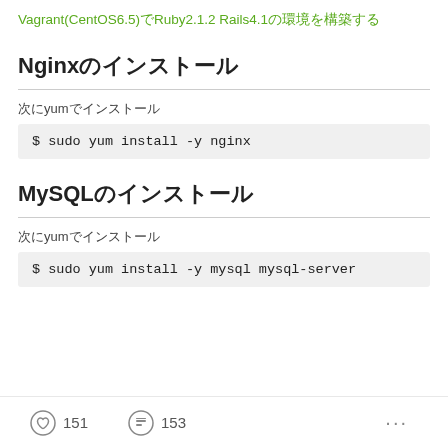Vagrant(CentOS6.5)でRuby2.1.2 Rails4.1の環境を構築する
Nginxのインストール
次にyumでインストール
$ sudo yum install -y nginx
MySQLのインストール
次にyumでインストール
$ sudo yum install -y mysql mysql-server
151  153  ...